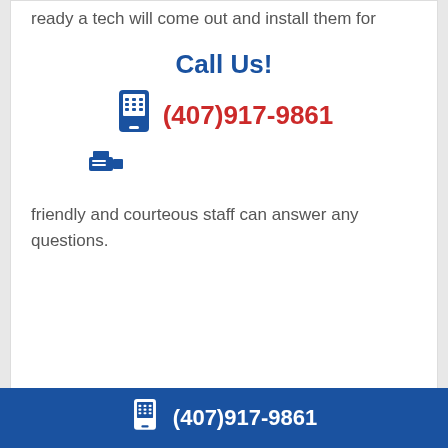ready a tech will come out and install them for
Call Us!
(407)917-9861
friendly and courteous staff can answer any questions.
(407)917-9861